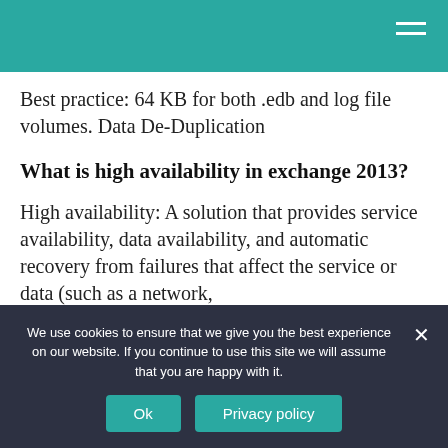Best practice: 64 KB for both .edb and log file volumes. Data De-Duplication
What is high availability in exchange 2013?
High availability: A solution that provides service availability, data availability, and automatic recovery from failures that affect the service or data (such as a network,
We use cookies to ensure that we give you the best experience on our website. If you continue to use this site we will assume that you are happy with it.